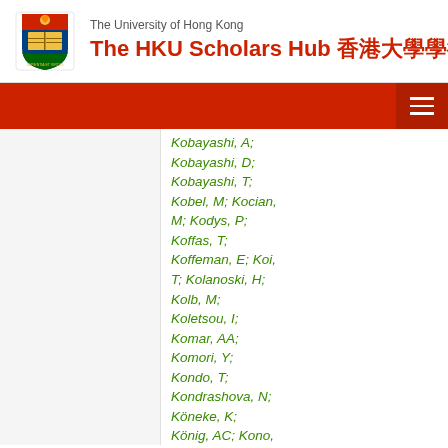The University of Hong Kong — The HKU Scholars Hub 香港大學學術庫
Kobayashi, A; Kobayashi, D; Kobayashi, T; Kobel, M; Kocian, M; Kodys, P; Koffas, T; Koffeman, E; Koi, T; Kolanoski, H; Kolb, M; Koletsou, I; Komar, AA; Komori, Y; Kondo, T; Kondrashova, N; Köneke, K; König, AC; Kono, T; Konoplich, R;